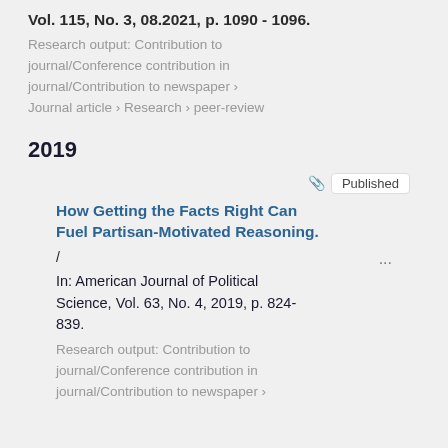Vol. 115, No. 3, 08.2021, p. 1090 - 1096.
Research output: Contribution to journal/Conference contribution in journal/Contribution to newspaper › Journal article › Research › peer-review
2019
Published
How Getting the Facts Right Can Fuel Partisan-Motivated Reasoning.
/ ...
In: American Journal of Political Science, Vol. 63, No. 4, 2019, p. 824-839.
Research output: Contribution to journal/Conference contribution in journal/Contribution to newspaper ›